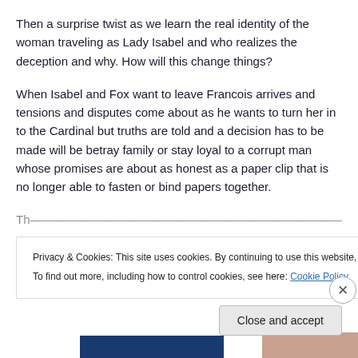Then a surprise twist as we learn the real identity of the woman traveling as Lady Isabel and who realizes the deception and why. How will this change things?
When Isabel and Fox want to leave Francois arrives and tensions and disputes come about as he wants to turn her in to the Cardinal but truths are told and a decision has to be made will be betray family or stay loyal to a corrupt man whose promises are about as honest as a paper clip that is no longer able to fasten or bind papers together.
Th... (partially visible line cut off by overlay)
Privacy & Cookies: This site uses cookies. By continuing to use this website, you agree to their use.
To find out more, including how to control cookies, see here: Cookie Policy